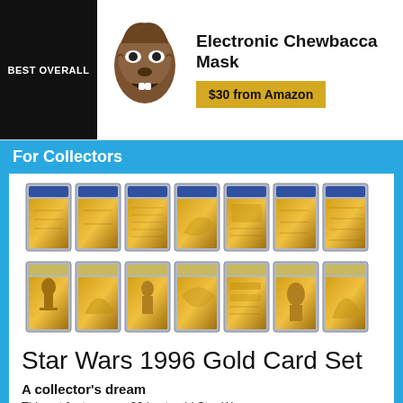BEST OVERALL
[Figure (photo): Electronic Chewbacca Mask product photo]
Electronic Chewbacca Mask
$30 from Amazon
For Collectors
[Figure (photo): Star Wars 1996 Gold Card Set - 14 gold foil trading cards in graded plastic cases arranged in two rows]
Star Wars 1996 Gold Card Set
A collector's dream
This set features ca. 30 best-sold Star Wars...